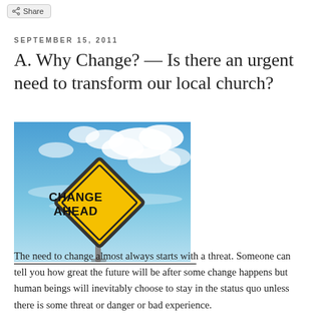Share
SEPTEMBER 15, 2011
A. Why Change? — Is there an urgent need to transform our local church?
[Figure (photo): A yellow diamond-shaped road sign reading 'CHANGE AHEAD' against a blue sky with white clouds.]
The need to change almost always starts with a threat. Someone can tell you how great the future will be after some change happens but human beings will inevitably choose to stay in the status quo unless there is some threat or danger or bad experience.